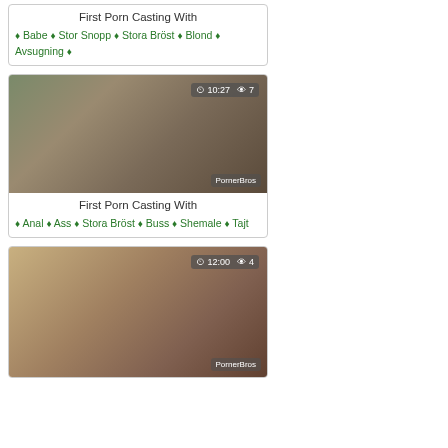First Porn Casting With ♦ Babe ♦ Stor Snopp ♦ Stora Bröst ♦ Blond ♦ Avsugning ♦
[Figure (photo): Video thumbnail with overlay showing 10:27 duration and 7 views, watermark PornerBros]
First Porn Casting With ♦ Anal ♦ Ass ♦ Stora Bröst ♦ Buss ♦ Shemale ♦ Tajt
[Figure (photo): Video thumbnail with overlay showing 12:00 duration and 4 views, watermark PornerBros]